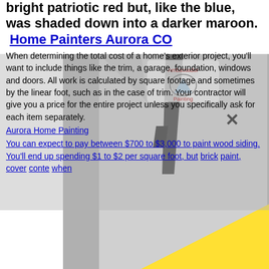bright patriotic red but, like the blue, was shaded down into a darker maroon. Home Painters Aurora CO
When determining the total cost of a home's exterior project, you'll want to include things like the trim, a garage, foundation, windows and doors. All work is calculated by square footage and sometimes by the linear foot, such as in the case of trim. Your contractor will give you a price for the entire project unless you specifically ask for each item separately.
Aurora Home Painting
You can expect to pay between $700 to $3,000 to paint wood siding. You'll end up spending $1 to $2 per square foot, but it can also cost more. You can also find brick or stone on the exterior of your home. To paint, however, you'll need to consider the texture of coverage, content...when
[Figure (photo): Black and white photo of a man in a suit with polka dot tie, overlaid with a yellow triangle shape and Ambassador Painting logo]
#4 You should access easy-to- should the ladders. These extension poles will help you paint the surface from a closer distance and will allow painting the surface more precisely. Also, you should find painting grids instead of the popular trays. Before you start, you should arrange all the items you might need